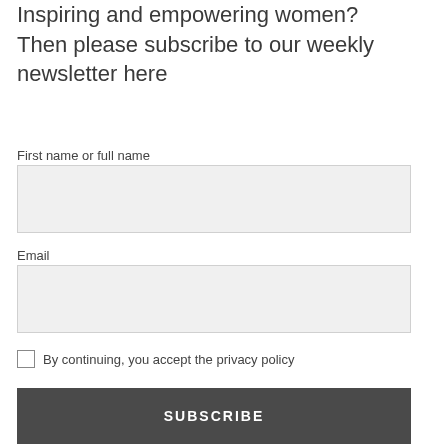Inspiring and empowering women? Then please subscribe to our weekly newsletter here
First name or full name
Email
By continuing, you accept the privacy policy
SUBSCRIBE